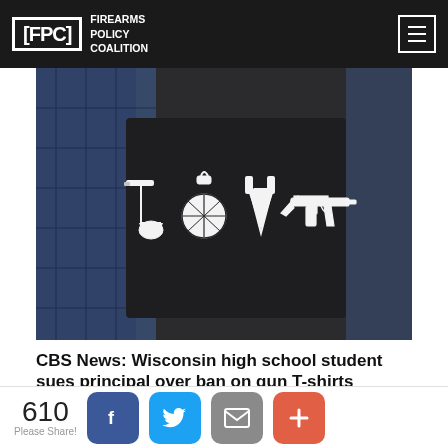FPC Firearms Policy Coalition
[Figure (photo): Person wearing a black t-shirt with 'LOVE' spelled using weapon imagery: a hand holding a gun for L, a grenade for O, a knife for V, and an assault rifle for E. Person is also wearing an open blue plaid shirt over the t-shirt.]
CBS News: Wisconsin high school student sues principal over ban on gun T-shirts
A Wisconsin high schooler is fighting to wear shirts
610 Please Share!